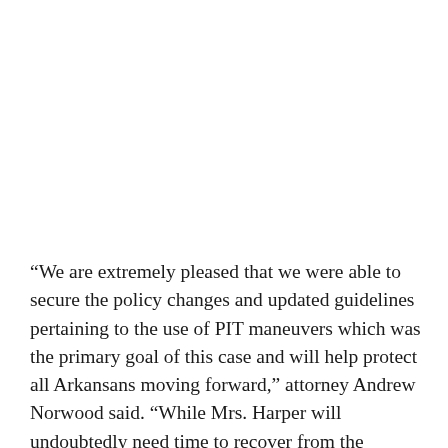“We are extremely pleased that we were able to secure the policy changes and updated guidelines pertaining to the use of PIT maneuvers which was the primary goal of this case and will help protect all Arkansans moving forward,” attorney Andrew Norwood said. “While Mrs. Harper will undoubtedly need time to recover from the psychological trauma she suffered after the PIT maneuver in question, she is excited to close this chapter of